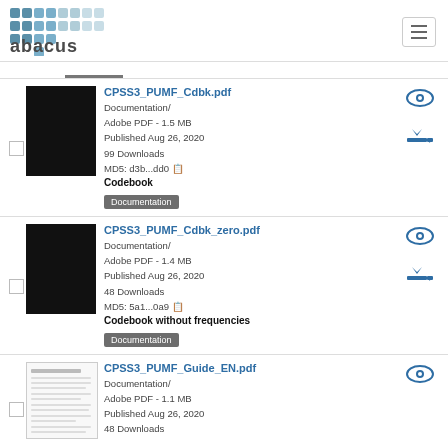abacus logo and navigation
CPSS3_PUMF_Cdbk.pdf | Documentation/ | Adobe PDF - 1.5 MB | Published Aug 26, 2020 | 99 Downloads | MD5: d3b...dd0 | Codebook | Documentation
CPSS3_PUMF_Cdbk_zero.pdf | Documentation/ | Adobe PDF - 1.4 MB | Published Aug 26, 2020 | 48 Downloads | MD5: 5a1...0a9 | Codebook without frequencies | Documentation
CPSS3_PUMF_Guide_EN.pdf | Documentation/ | Adobe PDF - 1.1 MB | Published Aug 26, 2020 | 48 Downloads